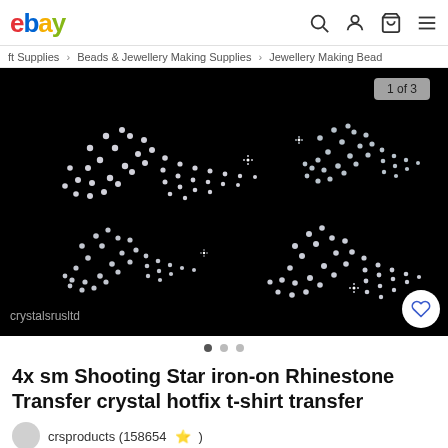ebay
ft Supplies > Beads & Jewellery Making Supplies > Jewellery Making Bead
[Figure (photo): Product photo showing four rhinestone shooting star iron-on transfers arranged in 2x2 grid on black background, made of crystal hotfix stones. Watermark: crystalsrusltd. Counter badge: 1 of 3.]
4x sm Shooting Star iron-on Rhinestone Transfer crystal hotfix t-shirt transfer
crsproducts (158654 ⭐)